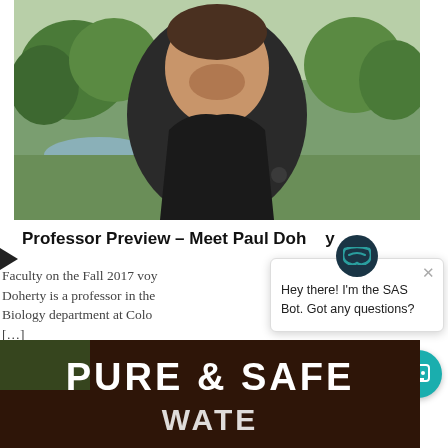[Figure (photo): A smiling man in a black zip-up jacket standing outdoors with trees and a pond in the background.]
Professor Preview – Meet Paul Doherty
Faculty on the Fall 2017 voy... Doherty is a professor in the Biology department at Colo... [...]
[Figure (screenshot): Chat bot popup with icon and message: Hey there! I'm the SAS Bot. Got any questions?]
[Figure (photo): A dark brown sign with white text reading PURE & SAFE and partially visible text below.]